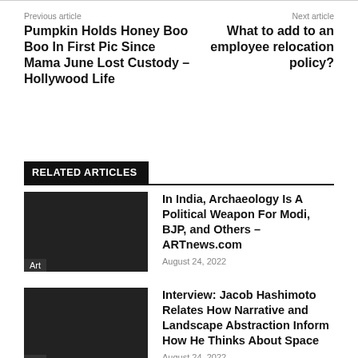Previous article
Pumpkin Holds Honey Boo Boo In First Pic Since Mama June Lost Custody – Hollywood Life
Next article
What to add to an employee relocation policy?
RELATED ARTICLES
In India, Archaeology Is A Political Weapon For Modi, BJP, and Others – ARTnews.com
August 24, 2022
Interview: Jacob Hashimoto Relates How Narrative and Landscape Abstraction Inform How He Thinks About Space
August 24, 2022